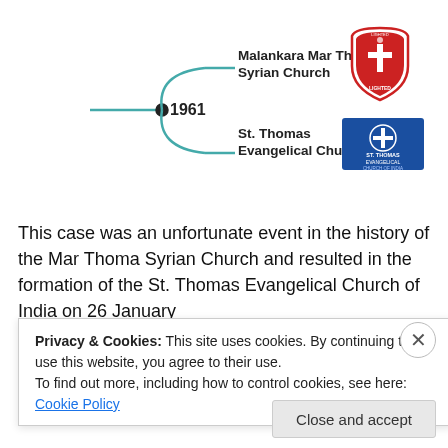[Figure (flowchart): Diagram showing a timeline split at 1961 into Malankara Mar Thoma Syrian Church and St. Thomas Evangelical Church, with logos for each church on the right.]
This case was an unfortunate event in the history of the Mar Thoma Syrian Church and resulted in the formation of the St. Thomas Evangelical Church of India on 26 January
Privacy & Cookies: This site uses cookies. By continuing to use this website, you agree to their use.
To find out more, including how to control cookies, see here: Cookie Policy